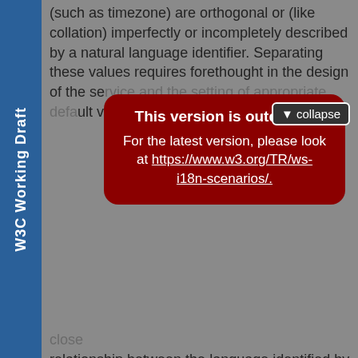W3C Working Draft
(such as timezone) are orthogonal or (like collation) imperfectly or incompletely described by a natural language identifier. Separating these values requires forethought in the design of the service and the setting of appropriate default values.
[Figure (screenshot): Red modal overlay with 'This version is outdated!' warning and collapse button, covering part of the page text. Modal contains link to https://www.w3.org/TR/ws-i18n-scenarios/.]
In many contexts, the word "locale" is used for a language. A locale can affect many tags describing the service. The locale should not be confused with language tags or identifiers. There is a close relationship between the language identified by such a tag and the corresponding locale in the underlying platform and a software process may choose to use language tags to select many of these additional operational settings or international preferences.
Distributed processing, as with Web services, must allow for several patterns of behavior in the back end implementation represented by the service.
There are three patterns that such a service may follow. These are: